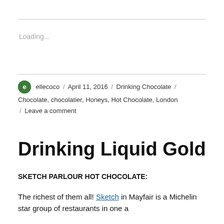Loading...
ellecoco / April 11, 2016 / Drinking Chocolate / Chocolate, chocolatier, Honeys, Hot Chocolate, London / Leave a comment
Drinking Liquid Gold
SKETCH PARLOUR HOT CHOCOLATE:
The richest of them all! Sketch in Mayfair is a Michelin star group of restaurants in one...